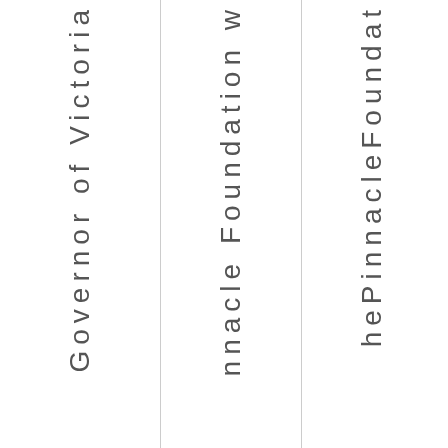Governor of Victoria
pinnacle Foundation
hePinnacleFoundat